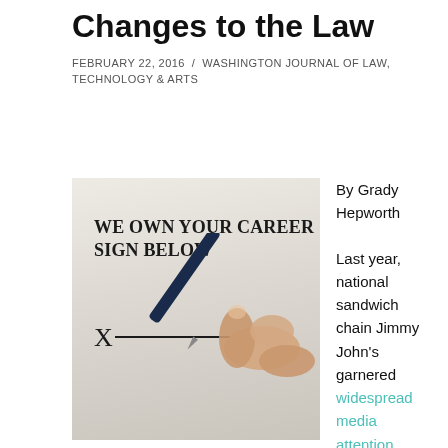Changes to the Law
FEBRUARY 22, 2016 / WASHINGTON JOURNAL OF LAW, TECHNOLOGY & ARTS
[Figure (photo): A hand holding a dark pen poised over a document that reads 'WE OWN YOUR CAREER SIGN BELOW' with an X and a signature line below it.]
By Grady Hepworth

Last year, national sandwich chain Jimmy John's garnered widespread media attention after it was